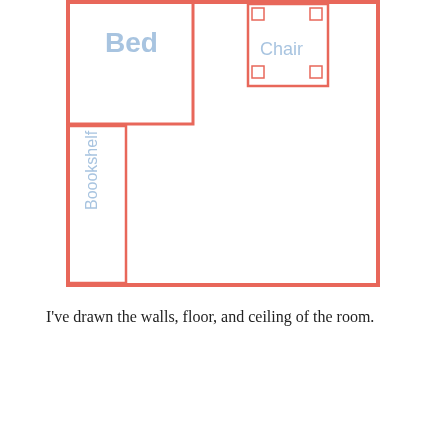[Figure (schematic): Floor plan diagram of a room showing furniture layout. A large red-outlined room boundary. Inside: a large rectangle labeled 'Bed' (top-left), a smaller rectangle labeled 'Chair' (top-right, with small squares at corners indicating legs), and a tall narrow rectangle labeled 'Boookshelf' (bottom-left, text rotated 90 degrees).]
I've drawn the walls, floor, and ceiling of the room.